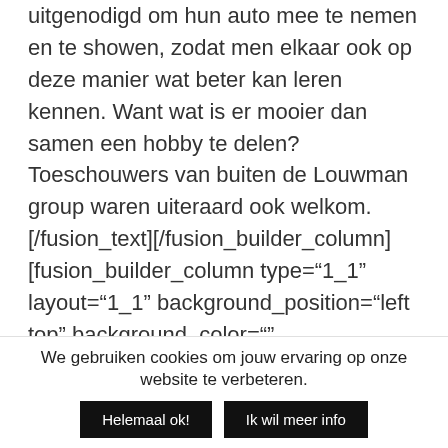uitgenodigd om hun auto mee te nemen en te showen, zodat men elkaar ook op deze manier wat beter kan leren kennen. Want wat is er mooier dan samen een hobby te delen? Toeschouwers van buiten de Louwman group waren uiteraard ook welkom.

[/fusion_text][/fusion_builder_column][fusion_builder_column type="1_1" layout="1_1" background_position="left top" background_color="" border_size="" border_color="" border_style="solid" border_position="all" spacing="yes"
We gebruiken cookies om jouw ervaring op onze website te verbeteren.